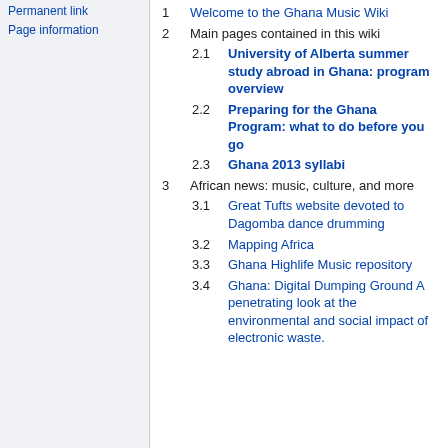Permanent link
Page information
1  Welcome to the Ghana Music Wiki
2  Main pages contained in this wiki
2.1  University of Alberta summer study abroad in Ghana: program overview
2.2  Preparing for the Ghana Program: what to do before you go
2.3  Ghana 2013 syllabi
3  African news: music, culture, and more
3.1  Great Tufts website devoted to Dagomba dance drumming
3.2  Mapping Africa
3.3  Ghana Highlife Music repository
3.4  Ghana: Digital Dumping Ground A penetrating look at the environmental and social impact of electronic waste.